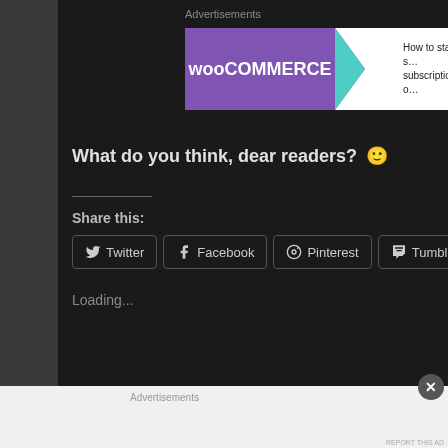Advertisements
[Figure (screenshot): WooCommerce advertisement banner showing purple WooCommerce logo and teal arrow with text 'How to start subscriptions']
What do you think, dear readers? 🙂
Share this:
Twitter
Facebook
Pinterest
Tumblr
Email
Loading...
Advertisements
[Figure (screenshot): Automattic advertisement: 'Build a better web and a better world.']